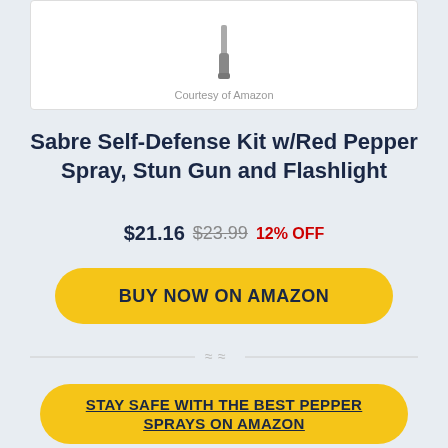[Figure (photo): Partial view of a stun gun / flashlight device on white background with 'Courtesy of Amazon' caption]
Courtesy of Amazon
Sabre Self-Defense Kit w/Red Pepper Spray, Stun Gun and Flashlight
$21.16  $23.99  12% OFF
BUY NOW ON AMAZON
STAY SAFE WITH THE BEST PEPPER SPRAYS ON AMAZON